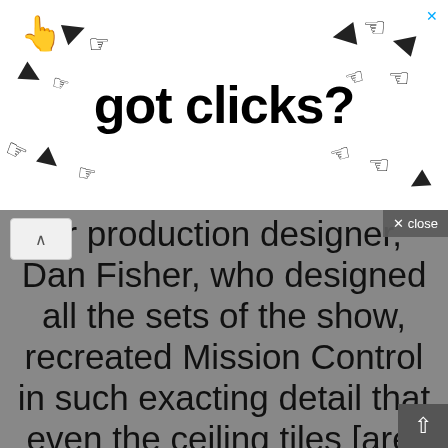[Figure (screenshot): Advertisement banner with cursor/hand icons and text 'got clicks?' with an X close button in the top right corner]
ur production designer, Dan Fisher, who designed all the sets of the show, recreated Mission Control in such exacting detail that even the ceiling tiles [are] the same as the ceiling tiles in the original mission control. When we were on set, we had technical consultants and former astronauts who were actually there, who would walk the cast through how to operate